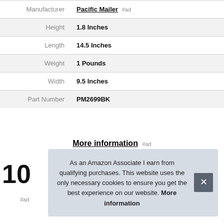| Attribute | Value |
| --- | --- |
| Manufacturer | Pacific Mailer #ad |
| Height | 1.8 Inches |
| Length | 14.5 Inches |
| Weight | 1 Pounds |
| Width | 9.5 Inches |
| Part Number | PM2699BK |
More information #ad
10
#ad
As an Amazon Associate I earn from qualifying purchases. This website uses the only necessary cookies to ensure you get the best experience on our website. More information